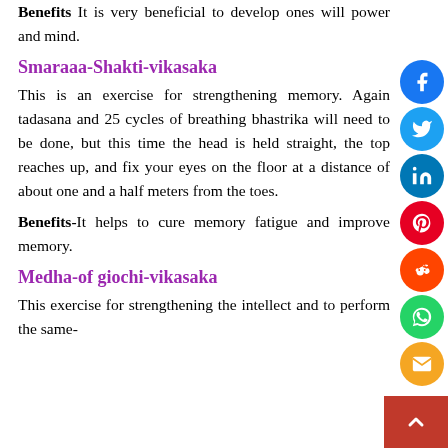Benefits It is very beneficial to develop ones will power and mind.
Smaraaa-Shakti-vikasaka
This is an exercise for strengthening memory. Again tadasana and 25 cycles of breathing bhastrika will need to be done, but this time the head is held straight, the top reaches up, and fix your eyes on the floor at a distance of about one and a half meters from the toes.
Benefits-It helps to cure memory fatigue and improve memory.
Medha-of giochi-vikasaka
This exercise for strengthening the intellect and to perform the same-